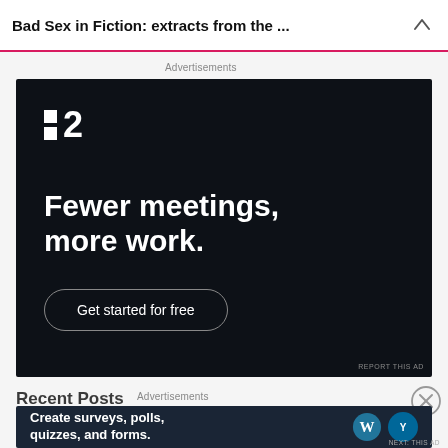Bad Sex in Fiction: extracts from the ...
Advertisements
[Figure (screenshot): Advertisement banner for Linear (planning software). Dark background with white logo '■2' top left, bold white text 'Fewer meetings, more work.' and a rounded button 'Get started for free'.]
REPORT THIS AD
Recent Posts
Advertisements
[Figure (screenshot): Advertisement banner. Dark background with white bold text 'Create surveys, polls, quizzes, and forms.' and WordPress and Yoast logos on the right.]
NEXT: THIS AD